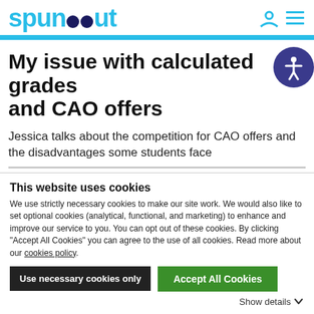spunout
My issue with calculated grades and CAO offers
Jessica talks about the competition for CAO offers and the disadvantages some students face
This website uses cookies
We use strictly necessary cookies to make our site work. We would also like to set optional cookies (analytical, functional, and marketing) to enhance and improve our service to you. You can opt out of these cookies. By clicking "Accept All Cookies" you can agree to the use of all cookies. Read more about our cookies policy.
Use necessary cookies only
Accept All Cookies
Show details